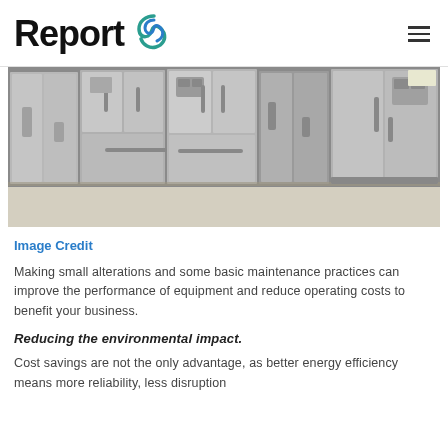Report
[Figure (photo): Row of stainless steel refrigerators lined up in what appears to be a store or showroom, photographed from a low angle showing multiple side-by-side and French door models.]
Image Credit
Making small alterations and some basic maintenance practices can improve the performance of equipment and reduce operating costs to benefit your business.
Reducing the environmental impact.
Cost savings are not the only advantage, as better energy efficiency means more reliability, less disruption